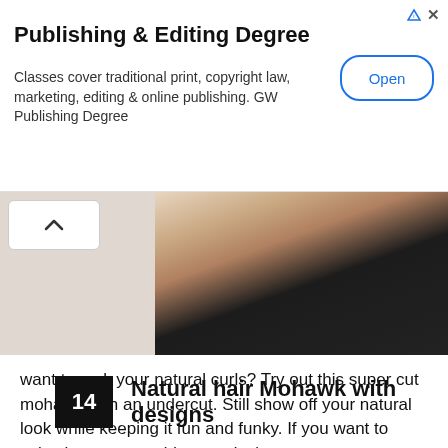[Figure (other): Advertisement banner for Publishing & Editing Degree with Open button]
Publishing & Editing Degree
Classes cover traditional print, copyright law, marketing, editing & online publishing. GW Publishing Degree
[Figure (photo): Partial photo of a woman with natural hair, wearing a black top]
want to rock your natural curls? Try out this super cut mohawk with an undercut. Still show off your natural look while keeping it fun and funky. If you want to spice it up opt to add some designs.
14   Natural hair Mohawk with designs